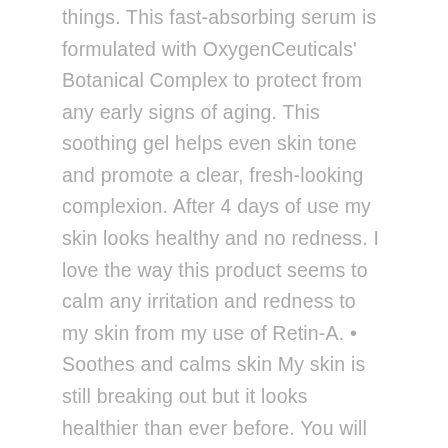things. This fast-absorbing serum is formulated with OxygenCeuticals' Botanical Complex to protect from any early signs of aging. This soothing gel helps even skin tone and promote a clear, fresh-looking complexion. After 4 days of use my skin looks healthy and no redness. I love the way this product seems to calm any irritation and redness to my skin from my use of Retin-A. • Soothes and calms skin My skin is still breaking out but it looks healthier than ever before. You will not be sorry for using them. I had this product about 5 years ago in high school and thought it helped with redness, dryness and acne, but then again my grandmother had bought me the whole skin care line. PM-Wash with Cerave Hydrating Cleanser-SK-II Essence-Either (JS retional, … Initially I really held off buying my own because it's pricey, but honestly this is worth every penny. This soothing gel helps even skin tone and promote a clear, fresh-looking complexion. ], This product did wonders